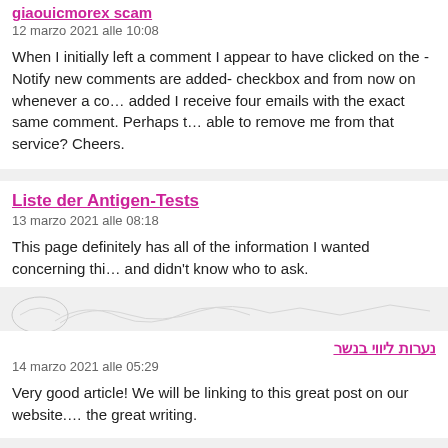giaouicmorex scam
12 marzo 2021 alle 10:08
When I initially left a comment I appear to have clicked on the -Notify new comments are added- checkbox and from now on whenever a comment is added I receive four emails with the exact same comment. Perhaps there is able to remove me from that service? Cheers.
Liste der Antigen-Tests
13 marzo 2021 alle 08:18
This page definitely has all of the information I wanted concerning this and didn't know who to ask.
נערות ליווי בנשר
14 marzo 2021 alle 05:29
Very good article! We will be linking to this great post on our website. the great writing.
Stefanie Darosa
17 marzo 2021 alle 06:12